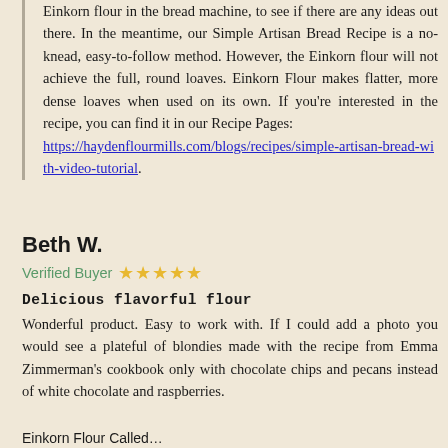Einkorn flour in the bread machine, to see if there are any ideas out there. In the meantime, our Simple Artisan Bread Recipe is a no-knead, easy-to-follow method. However, the Einkorn flour will not achieve the full, round loaves. Einkorn Flour makes flatter, more dense loaves when used on its own. If you're interested in the recipe, you can find it in our Recipe Pages: https://haydenflourmills.com/blogs/recipes/simple-artisan-bread-with-video-tutorial.
Beth W.
Verified Buyer ★★★★★
Delicious flavorful flour
Wonderful product. Easy to work with. If I could add a photo you would see a plateful of blondies made with the recipe from Emma Zimmerman's cookbook only with chocolate chips and pecans instead of white chocolate and raspberries.
Einkorn Flour Called...